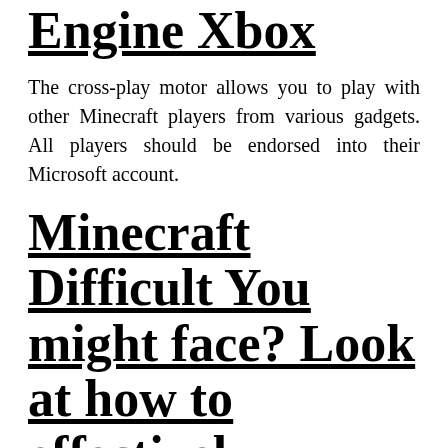Engine Xbox
The cross-play motor allows you to play with other Minecraft players from various gadgets. All players should be endorsed into their Microsoft account.
Minecraft Difficult You might face? Look at how to effectively change Minecraft's trouble.